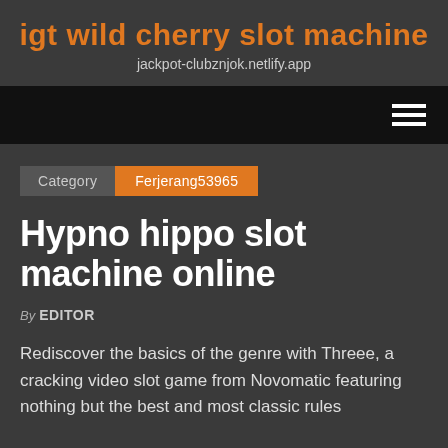igt wild cherry slot machine
jackpot-clubznjok.netlify.app
[Figure (other): Navigation bar with hamburger menu icon (three horizontal white lines) on black background]
Category   Ferjerang53965
Hypno hippo slot machine online
By EDITOR
Rediscover the basics of the genre with Threee, a cracking video slot game from Novomatic featuring nothing but the best and most classic rules